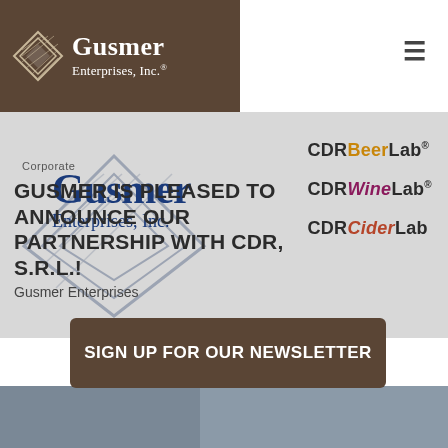[Figure (logo): Gusmer Enterprises, Inc. logo — white diamond geometric shape with hatching on dark brown background, white text 'Gusmer Enterprises, Inc.']
[Figure (infographic): Hero banner with Gusmer Enterprises watermark logo overlapping CDR product logos: CDRBeerLab®, CDRWineLab®, CDRCiderLab]
Corporate
GUSMER IS PLEASED TO ANNOUNCE OUR PARTNERSHIP WITH CDR, S.R.L.!
Gusmer Enterprises
SIGN UP FOR OUR NEWSLETTER